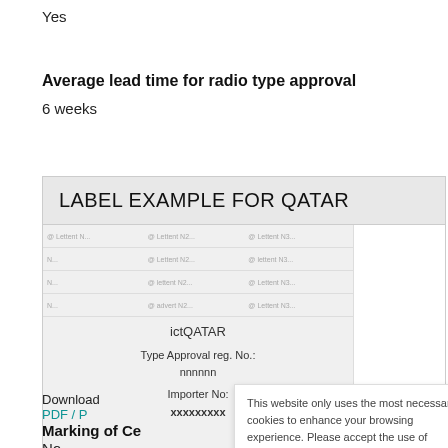Yes
Average lead time for radio type approval
6 weeks
[Figure (other): Label example for Qatar showing ictQATAR Type Approval reg. No.: nnnnnn, Importer No.: xxxxxxxxx on a grid/table background]
Download
PDF / P...
This website only uses the most necessary cookies to enhance your browsing experience. Please accept the use of cookies on this site, to allow us improving the site for you. You will find more information about cookies in the Privacy Statement  Accept
Marking of Ce...
No